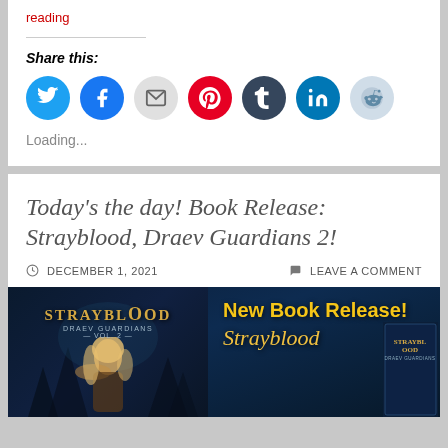reading
Share this:
[Figure (infographic): Social sharing icons: Twitter (blue), Facebook (blue), Email (grey), Pinterest (red), Tumblr (dark), LinkedIn (teal), Reddit (light blue)]
Loading...
Today's the day! Book Release: Strayblood, Draev Guardians 2!
DECEMBER 1, 2021    LEAVE A COMMENT
[Figure (photo): Strayblood Draev Guardians book release promotional banner with book cover and text: New Book Release! Strayblood]